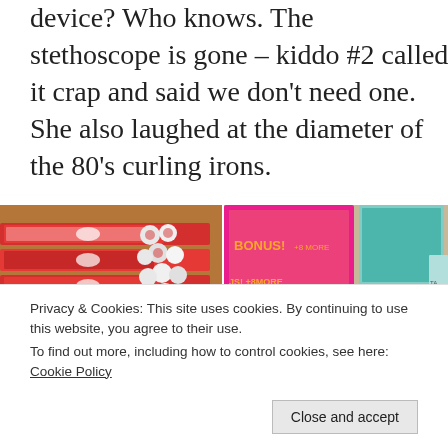device?  Who knows.  The stethoscope is gone – kiddo #2 called it crap and said we don't need one.  She also laughed at the diameter of the 80's curling irons.
[Figure (photo): Photo of multiple Colgate and Oral-B toothbrushes in blue packaging arranged on a wooden surface, with small round dental items and floss packages.]
[Figure (photo): Photo of Playtex Gentle Glide tampon boxes with BONUS! +8 MORE label, and Tampax Compak boxes on a surface.]
Privacy & Cookies: This site uses cookies. By continuing to use this website, you agree to their use.
To find out more, including how to control cookies, see here: Cookie Policy
[Figure (photo): Partial bottom image showing a product label with text HARGA KHUSUS Rp 5500,-]